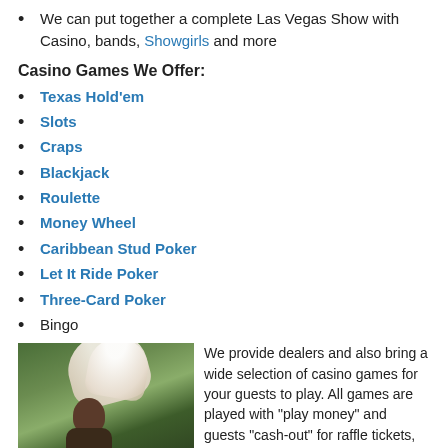We can put together a complete Las Vegas Show with Casino, bands, Showgirls and more
Casino Games We Offer:
Texas Hold'em
Slots
Craps
Blackjack
Roulette
Money Wheel
Caribbean Stud Poker
Let It Ride Poker
Three-Card Poker
Bingo
[Figure (photo): Two people in Las Vegas showgirl costumes with large white feather headdresses, standing in front of tropical foliage]
We provide dealers and also bring a wide selection of casino games for your guests to play. All games are played with “play money” and guests “cash-out” for raffle tickets, hoping to win one of the prizes you set the host has